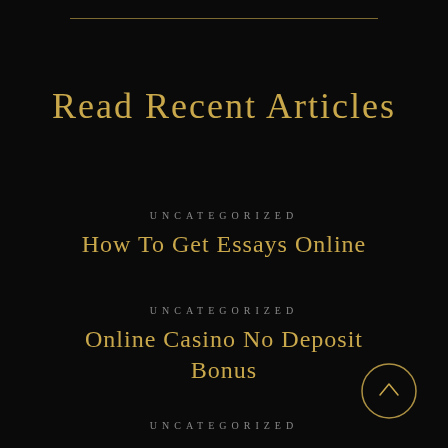Read Recent Articles
UNCATEGORIZED
How To Get Essays Online
UNCATEGORIZED
Online Casino No Deposit Bonus
UNCATEGORIZED